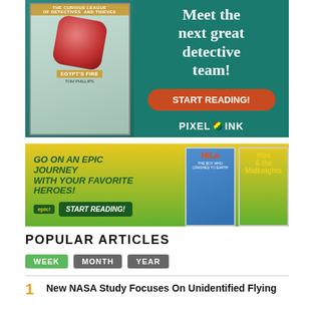[Figure (illustration): Advertisement for 'The Curious League of Detectives and Thieves: Egypt's Fire' by Tom Phillips. Teal background with book cover on left showing a red gemstone and characters. Right side reads 'Meet the next great detective team!' with a red 'START READING!' button and 'PIXEL+INK' logo.]
[Figure (illustration): Advertisement for Epic reading platform. Yellow-green gradient background with text 'GO ON AN EPIC JOURNEY WITH YOUR FAVORITE HEROES!' and 'START READING!' button. Right side shows covers of 'Hilo' and 'Max & the Midknights' books.]
POPULAR ARTICLES
WEEK  MONTH  YEAR
1. New NASA Study Focuses On Unidentified Flying